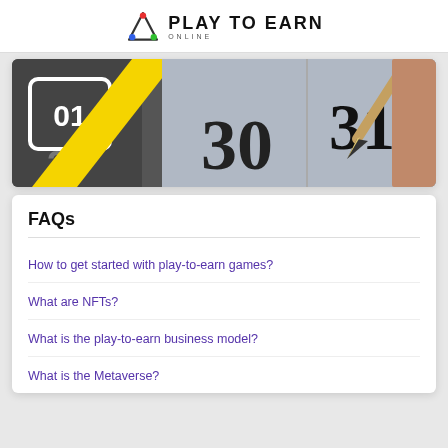PLAY TO EARN ONLINE
[Figure (photo): Close-up of a calendar showing numbers 29, 30, 31 with a yellow diagonal stripe and a pencil pointing at 31]
FAQs
How to get started with play-to-earn games?
What are NFTs?
What is the play-to-earn business model?
What is the Metaverse?